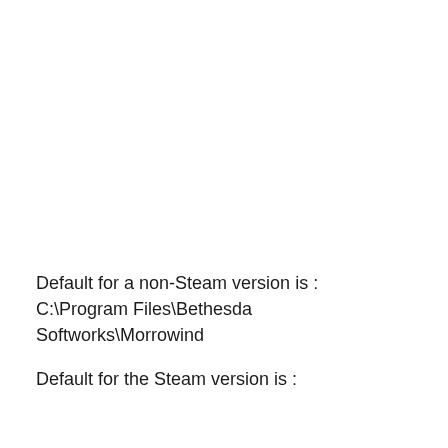Default for a non-Steam version is : C:\Program Files\Bethesda Softworks\Morrowind
Default for the Steam version is :